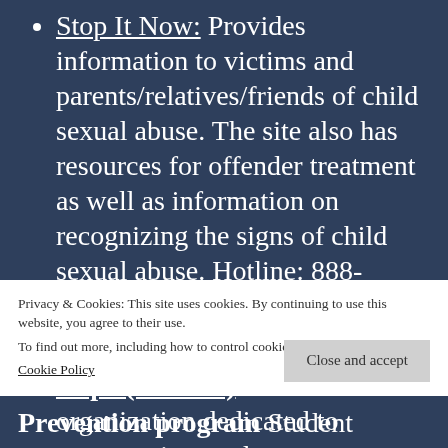Stop It Now: Provides information to victims and parents/relatives/friends of child sexual abuse. The site also has resources for offender treatment as well as information on recognizing the signs of child sexual abuse. Hotline: 888-PREVENT (773-8368)
Students Active for Ending Rape (SAFER) SAFER is an organization dedicated to empowering students to
Privacy & Cookies: This site uses cookies. By continuing to use this website, you agree to their use. To find out more, including how to control cookies, see here: Cookie Policy
Close and accept
Prevention program Student